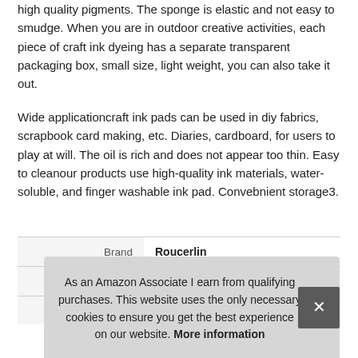high quality pigments. The sponge is elastic and not easy to smudge. When you are in outdoor creative activities, each piece of craft ink dyeing has a separate transparent packaging box, small size, light weight, you can also take it out.
Wide applicationcraft ink pads can be used in diy fabrics, scrapbook card making, etc. Diaries, cardboard, for users to play at will. The oil is rich and does not appear too thin. Easy to cleanour products use high-quality ink materials, water-soluble, and finger washable ink pad. Convebnient storage3.
|  |  |
| --- | --- |
| Brand | Roucerlin |
| Manufacturer | Roucerlin |
| P |  |
As an Amazon Associate I earn from qualifying purchases. This website uses the only necessary cookies to ensure you get the best experience on our website. More information